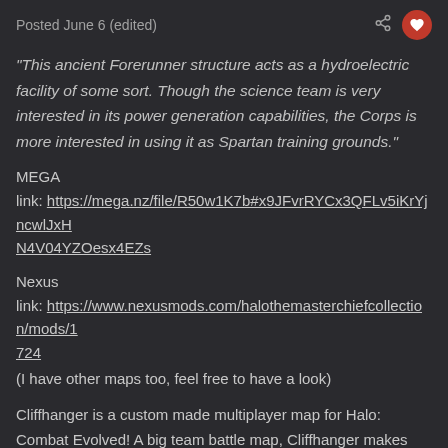Posted June 6 (edited)
"This ancient Forerunner structure acts as a hydroelectric facility of some sort. Though the science team is very interested in its power generation capabilities, the Corps is more interested in using it as Spartan training grounds."
MEGA
link: https://mega.nz/file/R50w1K7b#x9JFvrRYCx3QFLv5iKrYjncwlJxHN4V04YZOesx4EZs
Nexus
link: https://www.nexusmods.com/halothemasterchiefcollection/mods/1724
(I have other maps too, feel free to have a look)
Cliffhanger is a custom made multiplayer map for Halo: Combat Evolved! A big team battle map, Cliffhanger makes use of Warthogs,